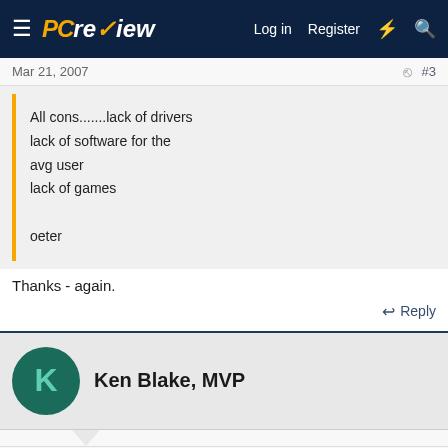PC review — Log in  Register
Mar 21, 2007  #3
All cons.......lack of drivers
lack of software for the avg user
lack of games

oeter
Thanks - again.
Reply
Ken Blake, MVP
Mar 21, 2007  #4
Fruit2O said: